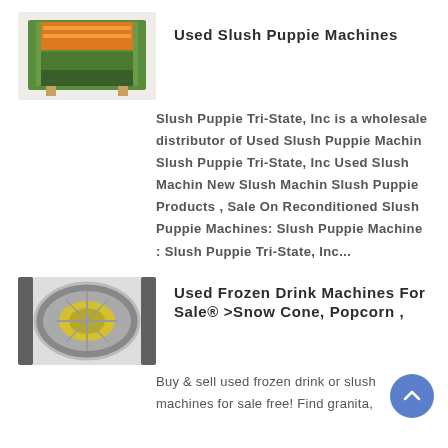[Figure (photo): Thumbnail image of a slush puppie machine, orange and green colored industrial machine]
Used Slush Puppie Machines
Slush Puppie Tri-State, Inc is a wholesale distributor of Used Slush Puppie Machin Slush Puppie Tri-State, Inc Used Slush Machin New Slush Machin Slush Puppie Products , Sale On Reconditioned Slush Puppie Machines: Slush Puppie Machine : Slush Puppie Tri-State, Inc...
[Figure (photo): Thumbnail image of a frozen drink machine, cylindrical drum shaped machine in grey and yellow]
Used Frozen Drink Machines For Sale® >Snow Cone, Popcorn ,
Buy & sell used frozen drink or slush machines for sale free! Find granita,